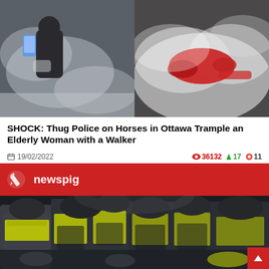[Figure (photo): Two side-by-side video stills: left shows a person in dark clothing amid smoke/tear gas, holding a phone; right shows a person in a red jacket lying on the ground surrounded by smoke.]
SHOCK: Thug Police on Horses in Ottawa Trample an Elderly Woman with a Walker
19/02/2022   👁 36132 ↑ 17 💬 11
newspig
[Figure (photo): Video still showing a crowd of police officers in dark uniforms and high-visibility yellow vests, closely packed together at night.]